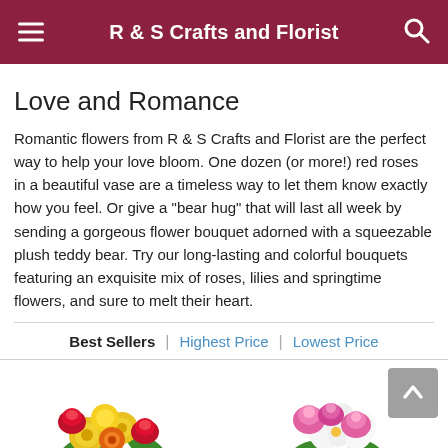R & S Crafts and Florist
Love and Romance
Romantic flowers from R & S Crafts and Florist are the perfect way to help your love bloom. One dozen (or more!) red roses in a beautiful vase are a timeless way to let them know exactly how you feel. Or give a "bear hug" that will last all week by sending a gorgeous flower bouquet adorned with a squeezable plush teddy bear. Try our long-lasting and colorful bouquets featuring an exquisite mix of roses, lilies and springtime flowers, and sure to melt their heart.
Best Sellers | Highest Price | Lowest Price
[Figure (photo): Two flower bouquet photos side by side at the bottom of the page — left: a colorful arrangement with red roses and yellow chrysanthemums; right: pink roses and white lilies.]